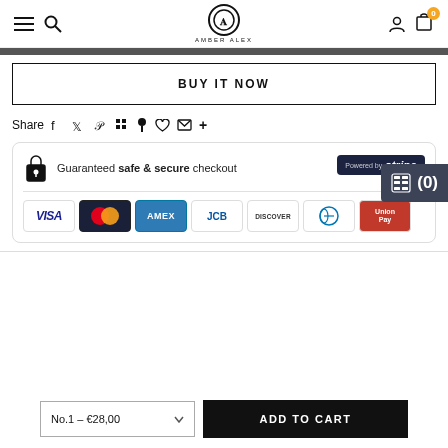Amber Alex - navigation header with logo, search, user, cart (0)
BUY IT NOW
Share
[Figure (screenshot): Guaranteed safe & secure checkout with Stripe badge and payment card logos: VISA, Mastercard, AMEX, JCB, Discover, Diners Club, UnionPay]
No.1 – €28,00
ADD TO CART